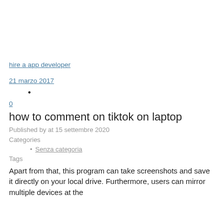hire a app developer
21 marzo 2017
•
0
how to comment on tiktok on laptop
Published by at 15 settembre 2020
Categories
Senza categoria
Tags
Apart from that, this program can take screenshots and save it directly on your local drive. Furthermore, users can mirror multiple devices at the